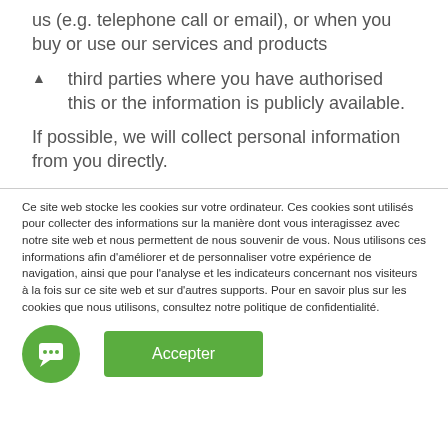us (e.g. telephone call or email), or when you buy or use our services and products
▲    third parties where you have authorised this or the information is publicly available.
If possible, we will collect personal information from you directly.
Ce site web stocke les cookies sur votre ordinateur. Ces cookies sont utilisés pour collecter des informations sur la manière dont vous interagissez avec notre site web et nous permettent de nous souvenir de vous. Nous utilisons ces informations afin d'améliorer et de personnaliser votre expérience de navigation, ainsi que pour l'analyse et les indicateurs concernant nos visiteurs à la fois sur ce site web et sur d'autres supports. Pour en savoir plus sur les cookies que nous utilisons, consultez notre politique de confidentialité.
[Figure (illustration): Green circular chat/support icon button]
Accepter